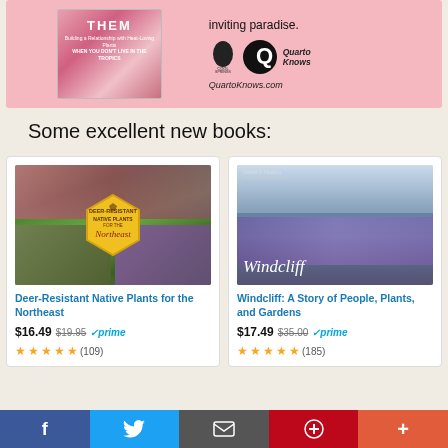[Figure (illustration): Pink advertisement banner for a gardening book. Left side shows a book cover with floral imagery and title text partially reading 'THEM'. Right side shows 'inviting paradise.' tagline, Cool Springs Press leaf logo, Quarto Q logo, and QuartoKnows.com URL.]
Some excellent new books:
[Figure (photo): Book cover for Deer-Resistant Native Plants for the Northeast showing collage of plants, deer, and a yellow hexagonal badge with deer icon]
Deer-Resistant Native Plants for the Northeast
$16.49 $19.95 ✓prime (109 reviews, 5 stars)
[Figure (photo): Book cover for Windcliff: A Story of People, Plants, and Gardens showing blue flowering plants in a garden with italic Windcliff title text]
Windcliff: A Story of People, Plants, and Gardens
$17.49 $35.00 ✓prime (185 reviews, 5 stars)
[Figure (other): Social sharing bar with Facebook, Twitter, Email, Pinterest, and More buttons]